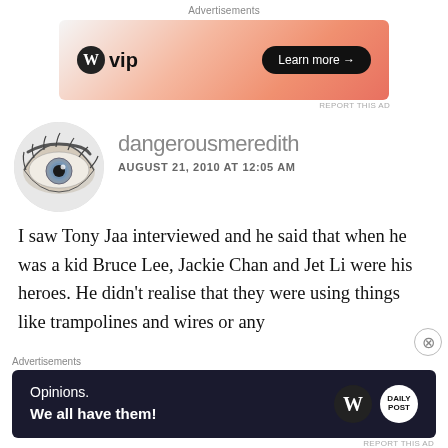[Figure (other): WordPress VIP advertisement banner with orange gradient background and Learn more button]
dangerousmeredith
AUGUST 21, 2010 AT 12:05 AM
I saw Tony Jaa interviewed and he said that when he was a kid Bruce Lee, Jackie Chan and Jet Li were his heroes. He didn't realise that they were using things like trampolines and wires or any
[Figure (other): WordPress Opinions advertisement banner with dark navy background]